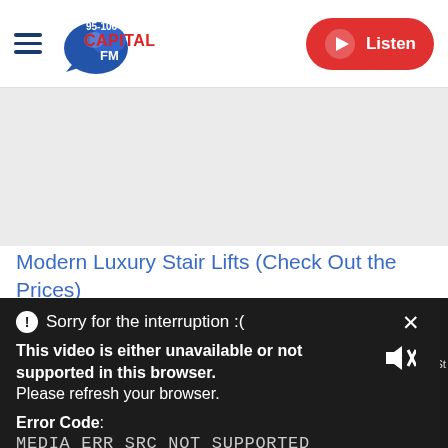Capital FM 95-106 | Listen
[Figure (screenshot): Gray advertisement banner area below the navigation header]
Modern Luxury Stair Lifts (Check Out the Prices)
[Figure (screenshot): Video player error dialog overlay on dark background. Error message: Sorry for the interruption :( — This video is either unavailable or not supported in this browser. Please refresh your browser. Error Code: MEDIA ERR SRC NOT SUPPORTED. Mute icon visible. Label 'The Harry St' visible on right.]